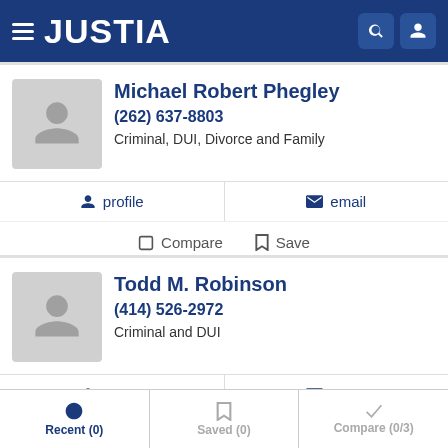[Figure (screenshot): Justia website header with hamburger menu, logo, search and user icons on dark blue background]
Michael Robert Phegley
(262) 637-8803
Criminal, DUI, Divorce and Family
profile  email
Compare  Save
Todd M. Robinson
(414) 526-2972
Criminal and DUI
profile  email
Recent (0)   Saved (0)   Compare (0/3)